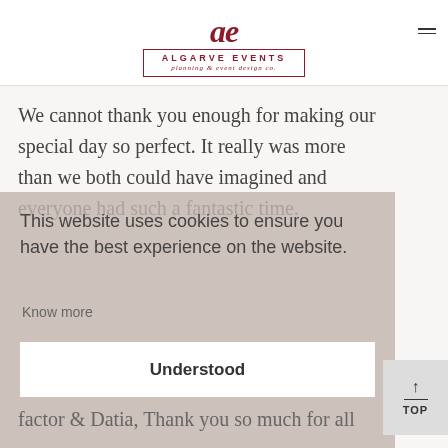[Figure (logo): Algarve Events logo with stylized 'ae' monogram in dark red, inside a bordered box with text 'ALGARVE EVENTS planning & event design co.']
We cannot thank you enough for making our special day so perfect. It really was more than we both could have imagined and everyone had such a fantastic time.
This website uses cookies to ensure you have the best experience on the website.
Know more
Understood
factor & Datia, Thank you so much for all